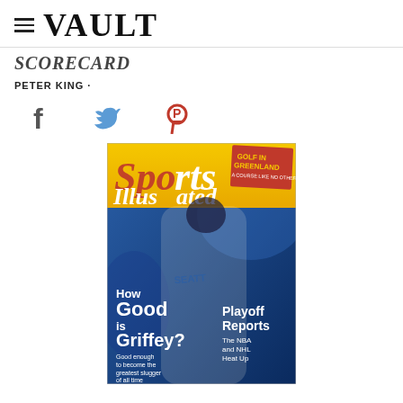≡ VAULT
SCORECARD
PETER KING ·
[Figure (other): Social media share icons: Facebook (f), Twitter (bird), Pinterest (P)]
[Figure (photo): Sports Illustrated magazine cover featuring Ken Griffey Jr. in Seattle Mariners uniform mid-swing. Cover text reads: 'How Good is Griffey? Good enough to become the greatest slugger of all time' and 'Playoff Reports The NBA and NHL Heat Up'. Small banner in upper right reads 'GOLF IN GREENLAND'. Yellow Sports Illustrated logo at top.]